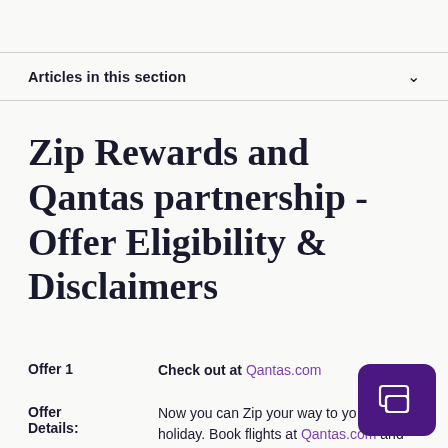Articles in this section
Zip Rewards and Qantas partnership - Offer Eligibility & Disclaimers
Offer 1    Check out at Qantas.com
Offer Details:    Now you can Zip your way to your holiday. Book flights at Qantas.com and checkout with your Zip account to earn